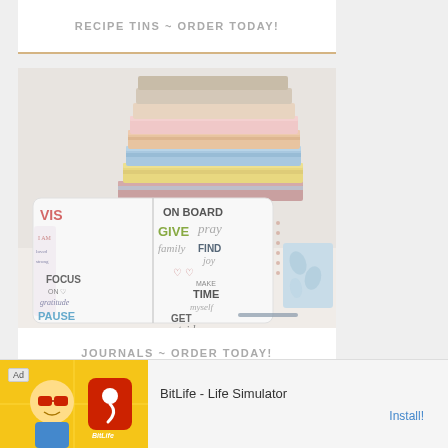RECIPE TINS ~ ORDER TODAY!
[Figure (photo): Stack of colorful pastel notebooks/journals above an open journal with hand-lettered words including VISION BOARD, GIVE, pray, family, FIND joy, FOCUS ON gratitude, PAUSE, MAKE TIME myself, GET outside]
JOURNALS ~ ORDER TODAY!
[Figure (photo): Partial view of another product section at bottom]
Ad  BitLife - Life Simulator  Install!